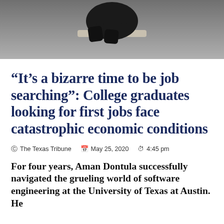[Figure (photo): A person in black clothing sitting or leaning against a ledge, photographed from above, against a gray concrete background.]
“It’s a bizarre time to be job searching”: College graduates looking for first jobs face catastrophic economic conditions
The Texas Tribune   May 25, 2020   4:45 pm
For four years, Aman Dontula successfully navigated the grueling world of software engineering at the University of Texas at Austin. He